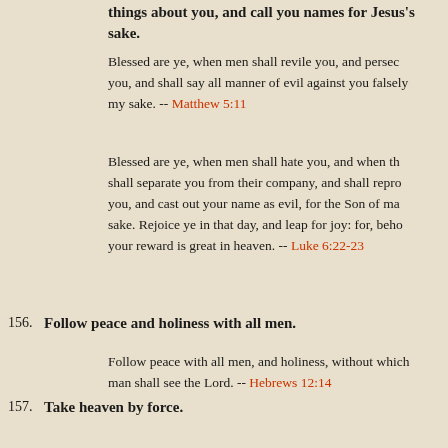things about you, and call you names for Jesus's sake.
Blessed are ye, when men shall revile you, and persecute you, and shall say all manner of evil against you falsely my sake. -- Matthew 5:11
Blessed are ye, when men shall hate you, and when they shall separate you from their company, and shall reproach you, and cast out your name as evil, for the Son of man's sake. Rejoice ye in that day, and leap for joy: for, behold, your reward is great in heaven. -- Luke 6:22-23
156. Follow peace and holiness with all men.
Follow peace with all men, and holiness, without which man shall see the Lord. -- Hebrews 12:14
157. Take heaven by force.
From the days of John the Baptist until now the kingdom of heaven suffereth violence, and the violent take it by force. Matthew 11:12
158. Believe in the foolishness of preaching.